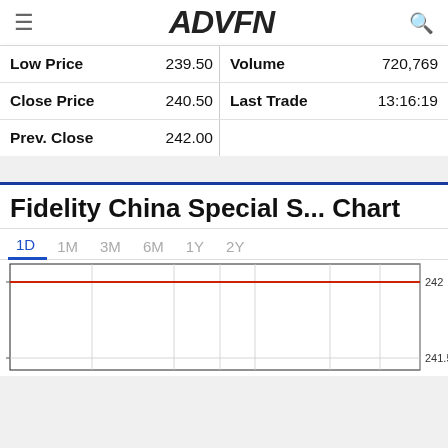ADVFN
| Label | Value | Label | Value |
| --- | --- | --- | --- |
| Low Price | 239.50 | Volume | 720,769 |
| Close Price | 240.50 | Last Trade | 13:16:19 |
| Prev. Close | 242.00 |  |  |
Fidelity China Special S... Chart
[Figure (line-chart): Intraday line chart showing price near 242, with a red horizontal reference line at 242 and lower bound near 241.5]